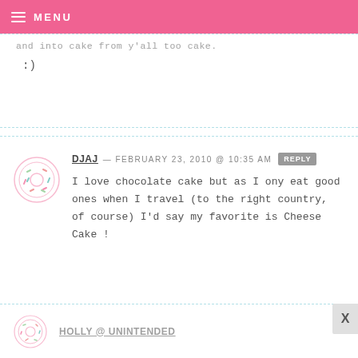MENU
:)
DJAJ — FEBRUARY 23, 2010 @ 10:35 AM REPLY
I love chocolate cake but as I ony eat good ones when I travel (to the right country, of course) I'd say my favorite is Cheese Cake !
HOLLY @ UNINTENDED